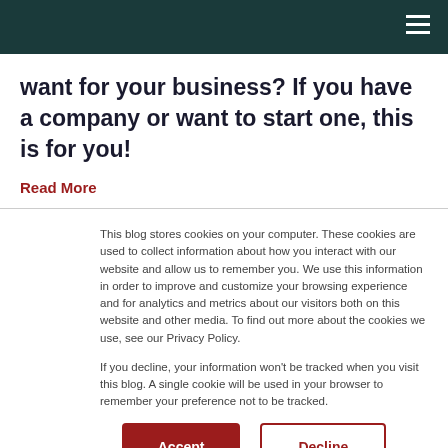want for your business? If you have a company or want to start one, this is for you!
Read More
This blog stores cookies on your computer. These cookies are used to collect information about how you interact with our website and allow us to remember you. We use this information in order to improve and customize your browsing experience and for analytics and metrics about our visitors both on this website and other media. To find out more about the cookies we use, see our Privacy Policy.

If you decline, your information won't be tracked when you visit this blog. A single cookie will be used in your browser to remember your preference not to be tracked.
Accept
Decline